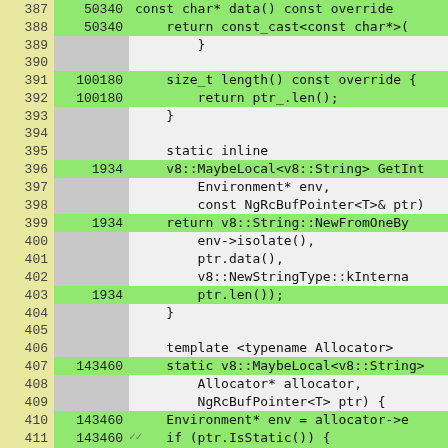[Figure (screenshot): Code coverage viewer showing C++ source lines 387-412 with line numbers (yellow background), hit counts (gray/green background), and code content (gray/green background). Green rows indicate covered lines, gray indicates uncovered.]